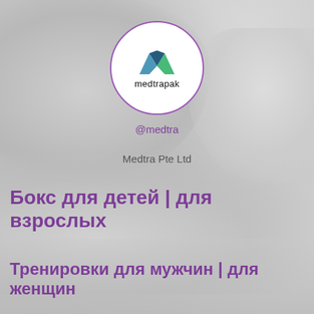[Figure (logo): Medtrapak logo: circular white badge with purple border, letter M in teal/navy/green colors above the text 'medtrapak']
@medtra
Medtra Pte Ltd
Бокс для детей | для взрослых
Тренировки для мужчин | для женщин